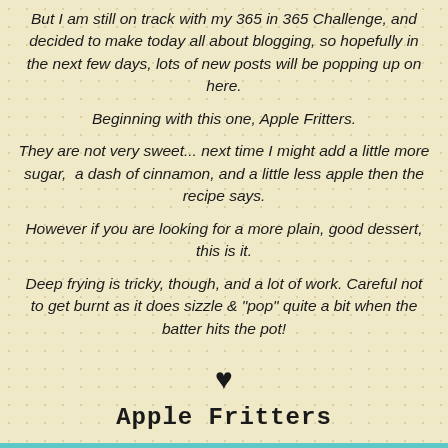But I am still on track with my 365 in 365 Challenge, and decided to make today all about blogging, so hopefully in the next few days, lots of new posts will be popping up on here.
Beginning with this one, Apple Fritters.
They are not very sweet... next time I might add a little more sugar, a dash of cinnamon, and a little less apple then the recipe says.
However if you are looking for a more plain, good dessert, this is it.
Deep frying is tricky, though, and a lot of work. Careful not to get burnt as it does sizzle & "pop" quite a bit when the batter hits the pot!
♥
Apple Fritters